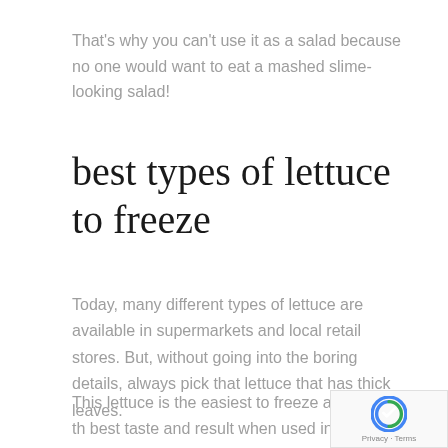That's why you can't use it as a salad because no one would want to eat a mashed slime-looking salad!
best types of lettuce to freeze
Today, many different types of lettuce are available in supermarkets and local retail stores. But, without going into the boring details, always pick that lettuce that has thick leaves.
This lettuce is the easiest to freeze and gives the best taste and result when used in your cooking.